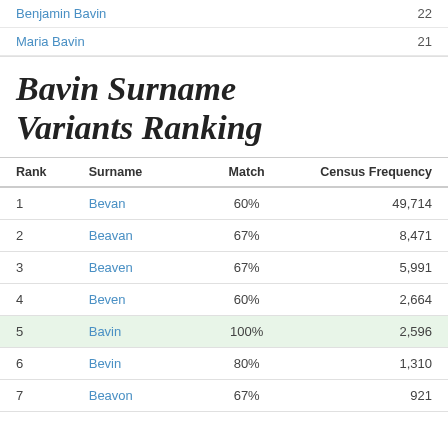Benjamin Bavin  22
Maria Bavin  21
Bavin Surname Variants Ranking
| Rank | Surname | Match | Census Frequency |
| --- | --- | --- | --- |
| 1 | Bevan | 60% | 49,714 |
| 2 | Beavan | 67% | 8,471 |
| 3 | Beaven | 67% | 5,991 |
| 4 | Beven | 60% | 2,664 |
| 5 | Bavin | 100% | 2,596 |
| 6 | Bevin | 80% | 1,310 |
| 7 | Beavon | 67% | 921 |